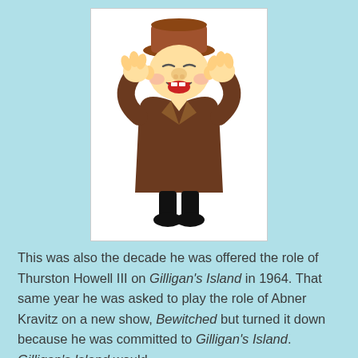[Figure (illustration): Cartoon illustration of an old man wearing a brown coat and brown hat, laughing with his hands raised to his face]
This was also the decade he was offered the role of Thurston Howell III on Gilligan's Island in 1964. That same year he was asked to play the role of Abner Kravitz on a new show, Bewitched but turned it down because he was committed to Gilligan's Island. Gilligan's Island would